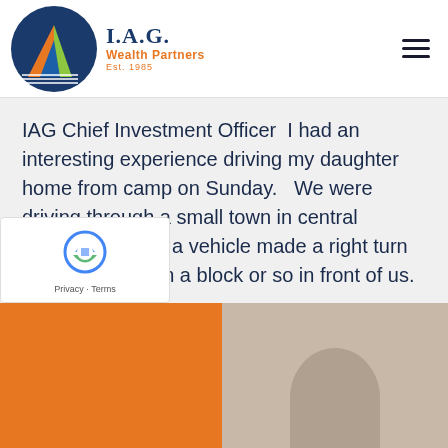[Figure (logo): IAG Wealth Partners logo — circular emblem with dark blue, orange, and green geometric shapes, with text 'I.A.G. Wealth Partners Est. 1985']
IAG Chief Investment Officer   I had an interesting experience driving my daughter home from camp on Sunday.   We were driving through a small town in central Wisconsin when a vehicle made a right turn at an intersection a block or so in front of us. Everything...
Read more ▶
[Figure (logo): reCAPTCHA badge with Google reCAPTCHA logo, Privacy and Terms links]
[Figure (photo): Bottom strip: left half orange background, right half shows partial photo of a person]